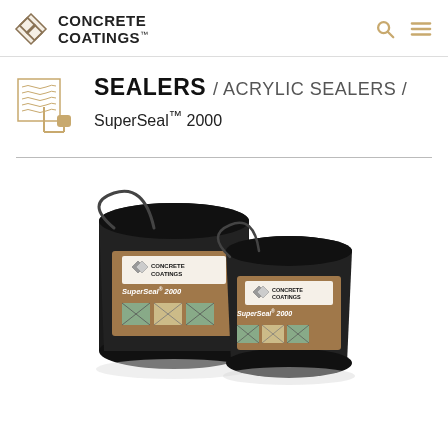CONCRETE COATINGS
SEALERS / ACRYLIC SEALERS / SuperSeal™ 2000
[Figure (photo): Two black buckets of Concrete Coatings SuperSeal 2000 acrylic sealer, one larger in front-left and one medium behind-right, both with brown product labels.]